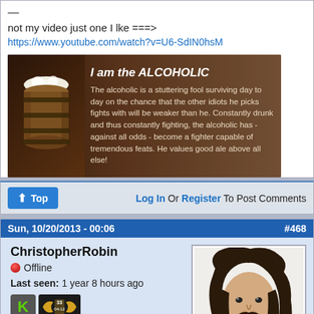—
not my video just one I lke ===>
https://www.youtube.com/watch?v=U6-SdIN0hsM
[Figure (illustration): Dark tavern-style banner image. Left: a wooden barrel with foam. Right: bold title 'I am the ALCOHOLIC' and description text about the alcoholic character being a stuttering fool surviving day to day.]
Top | Log In Or Register To Post Comments
Sun, 10/20/2013 - 00:06  #468
ChristopherRobin
Offline
Last seen: 1 year 8 hours ago
Joined: 10/12/2013 - 02:58
[Figure (illustration): Pencil sketch portrait of a bearded man with long dark hair.]
Cowgirl